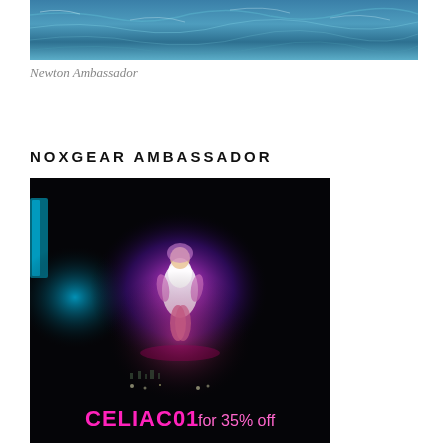[Figure (photo): Blue ocean/water aerial photo at top of page]
Newton Ambassador
NOXGEAR AMBASSADOR
[Figure (photo): Dark performance photo with person glowing in purple/pink light on stage. Text overlay reads 'CELIAC01 for 35% off' in pink/magenta text.]